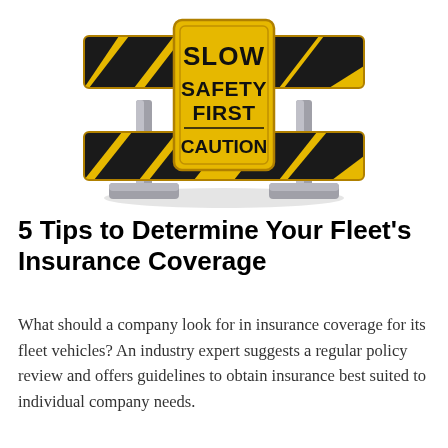[Figure (illustration): A yellow and black striped road safety barricade with a sign reading SLOW SAFETY FIRST CAUTION in bold black text on a yellow background. The barricade has metal legs and is mounted on a stand.]
5 Tips to Determine Your Fleet's Insurance Coverage
What should a company look for in insurance coverage for its fleet vehicles? An industry expert suggests a regular policy review and offers guidelines to obtain insurance best suited to individual company needs.